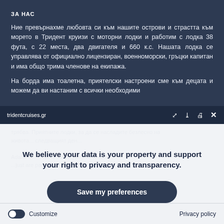ЗА НАС
Ние превърнахме любовта си към нашите острови и страстта към морето в Тридент круизи с моторни лодки и работим с лодка 38 фута, с 22 места, два двигателя и 660 к.с. Нашата лодка се управлява от официално лицензиран, военноморски, гръцки капитан и има общо трима членове на екипажа.
На борда има тоалетна, приятелски настроени сме към децата и можем да ви настаним с всички необходими...
tridentcruises.gr
We believe your data is your property and support your right to privacy and transparency.
Save my preferences
Customize
Privacy policy